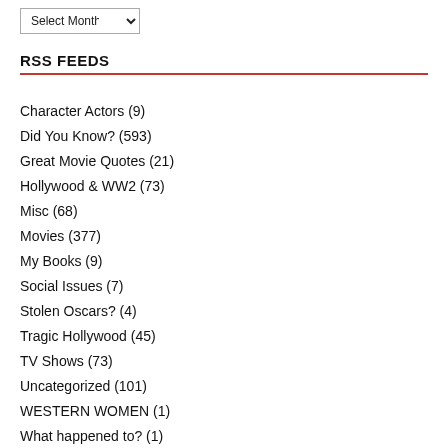RSS FEEDS
Character Actors (9)
Did You Know? (593)
Great Movie Quotes (21)
Hollywood & WW2 (73)
Misc (68)
Movies (377)
My Books (9)
Social Issues (7)
Stolen Oscars? (4)
Tragic Hollywood (45)
TV Shows (73)
Uncategorized (101)
WESTERN WOMEN (1)
What happened to? (1)
All Topics